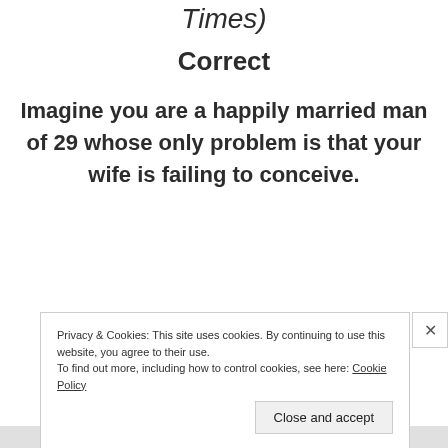Times)
Correct
Imagine you are a happily married man of 29 whose only problem is that your wife is failing to conceive.
Privacy & Cookies: This site uses cookies. By continuing to use this website, you agree to their use.
To find out more, including how to control cookies, see here: Cookie Policy
Close and accept